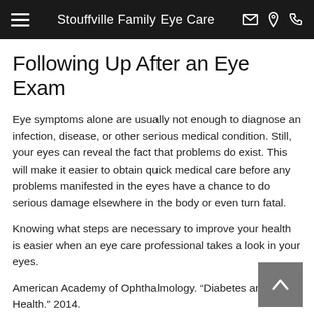Stouffville Family Eye Care
Following Up After an Eye Exam
Eye symptoms alone are usually not enough to diagnose an infection, disease, or other serious medical condition. Still, your eyes can reveal the fact that problems do exist. This will make it easier to obtain quick medical care before any problems manifested in the eyes have a chance to do serious damage elsewhere in the body or even turn fatal.
Knowing what steps are necessary to improve your health is easier when an eye care professional takes a look in your eyes.
American Academy of Ophthalmology. “Diabetes and Eye Health.” 2014.